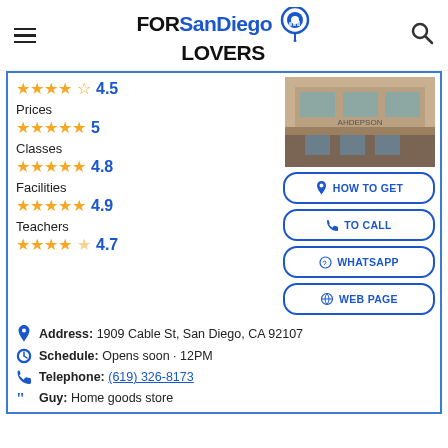FORSanDiego LOVERS
4.5 (stars)
Prices
5 (stars)
Classes
4.8 (stars)
Facilities
4.9 (stars)
Teachers
4.7 (stars)
[Figure (photo): Building exterior photo]
HOW TO GET
TO CALL
WHATSAPP
WEB PAGE
Address: 1909 Cable St, San Diego, CA 92107
Schedule: Opens soon · 12PM
Telephone: (619) 326-8173
Guy: Home goods store